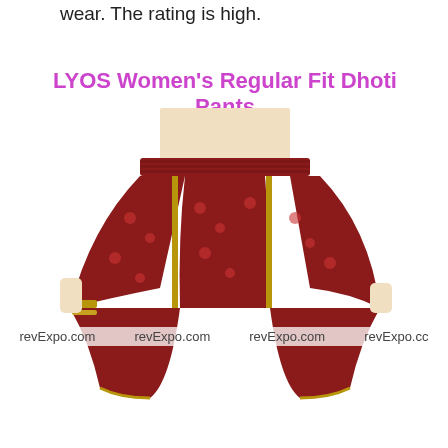wear. The rating is high.
LYOS Women's Regular Fit Dhoti Pants
[Figure (photo): A woman wearing red patterned dhoti pants with gold trim borders, paired with a white crop top. The pants are loose and gathered at the waist with an elastic band, tapering toward the ankles in a dhoti style.]
revExpo.com    revExpo.com    revExpo.com    revExpo.cc